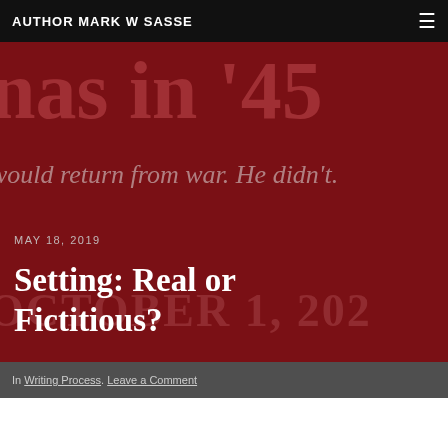AUTHOR MARK W SASSE
[Figure (photo): Dark red/maroon book cover hero image for 'Christmas in 45' by Mark W Sasse, showing partial title text 'nas in ’45', subtitle 'would return from war. He didn’t.', and overlapping background date text 'OCTOBER 1, 202'. The blog post title 'Setting: Real or Fictitious?' overlays the image.]
MAY 18, 2019
Setting: Real or Fictitious?
In Writing Process. Leave a Comment